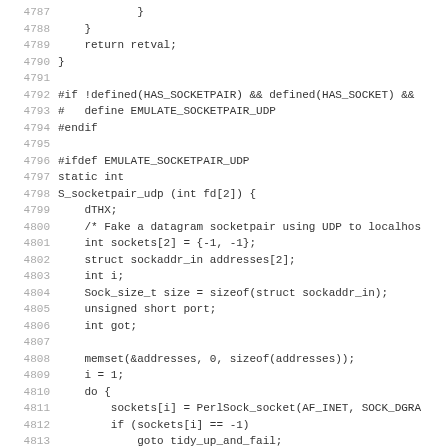Source code listing lines 4787-4818, C/Perl source code implementing socket pair UDP emulation